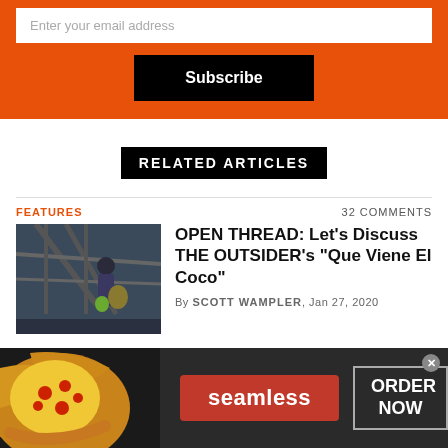[Figure (screenshot): Email subscription form with orange background, white text input field saying 'Enter your email address', and a black Subscribe button]
RELATED ARTICLES
FEATURES | 32 COMMENTS
[Figure (photo): A person walking outdoors near a steel structure, carrying bags, wearing a striped top]
OPEN THREAD: Let's Discuss THE OUTSIDER's "Que Viene El Coco"
By SCOTT WAMPLER, Jan 27, 2020
[Figure (screenshot): Seamless food delivery advertisement with pizza image, red Seamless logo button, and ORDER NOW button on dark background]